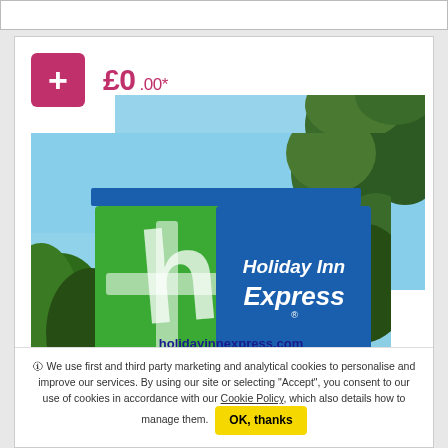[Figure (screenshot): Top browser chrome bar (white bar with grey border at top of page)]
[Figure (photo): Holiday Inn Express hotel sign photograph showing green square logo with white H, blue square with 'Holiday Inn Express' text in white italic font, and 'holidayinnexpress.com' text below. Background shows blue sky and trees.]
🛈 We use first and third party marketing and analytical cookies to personalise and improve our services. By using our site or selecting "Accept", you consent to our use of cookies in accordance with our Cookie Policy, which also details how to manage them.
OK, thanks